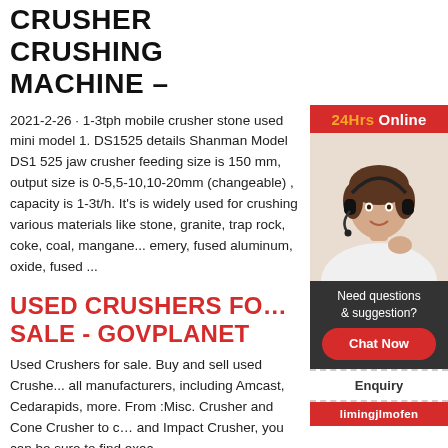CRUSHER CRUSHING MACHINE –
2021-2-26 · 1-3tph mobile crusher stone used mini model 1. DS1525 details Shanman Model DS1 525 jaw crusher feeding size is 150 mm, output size is 0-5,5-10,10-20mm (changeable) , capacity is 1-3t/h. It's is widely used for crushing various materials like stone, granite, trap rock, coke, coal, manganese, emery, fused aluminum, oxide, fused ...
USED CRUSHERS FOR SALE - GOVPLANET
Used Crushers for sale. Buy and sell used Crushers from all manufacturers, including Amcast, Cedarapids, more. From :Misc. Crusher and Cone Crusher to crusher and Impact Crusher, you can be sure to find exactly...
ROCK CRUSHER -
[Figure (photo): 24Hrs Online banner with woman wearing headset customer service representative, with chat/enquiry sidebar buttons]